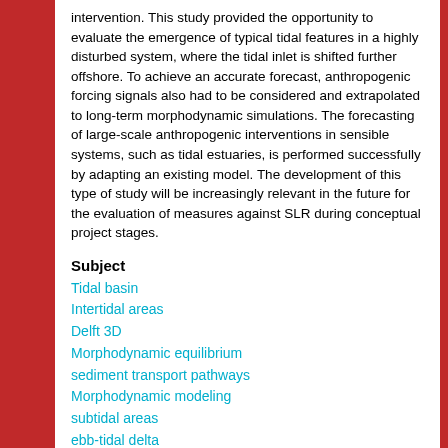intervention. This study provided the opportunity to evaluate the emergence of typical tidal features in a highly disturbed system, where the tidal inlet is shifted further offshore. To achieve an accurate forecast, anthropogenic forcing signals also had to be considered and extrapolated to long-term morphodynamic simulations. The forecasting of large-scale anthropogenic interventions in sensible systems, such as tidal estuaries, is performed successfully by adapting an existing model. The development of this type of study will be increasingly relevant in the future for the evaluation of measures against SLR during conceptual project stages.
Subject
Tidal basin
Intertidal areas
Delft 3D
Morphodynamic equilibrium
sediment transport pathways
Morphodynamic modeling
subtidal areas
ebb-tidal delta